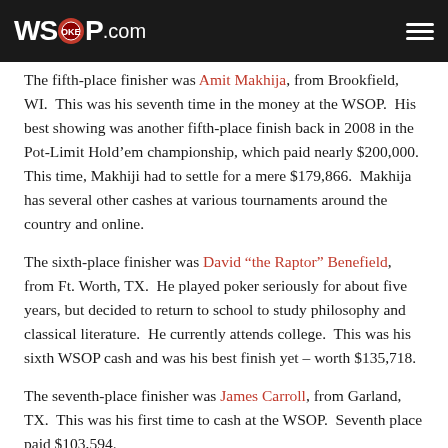WSOP.COM
The fifth-place finisher was Amit Makhija, from Brookfield, WI. This was his seventh time in the money at the WSOP. His best showing was another fifth-place finish back in 2008 in the Pot-Limit Hold’em championship, which paid nearly $200,000. This time, Makhiji had to settle for a mere $179,866. Makhija has several other cashes at various tournaments around the country and online.
The sixth-place finisher was David “the Raptor” Benefield, from Ft. Worth, TX. He played poker seriously for about five years, but decided to return to school to study philosophy and classical literature. He currently attends college. This was his sixth WSOP cash and was his best finish yet – worth $135,718.
The seventh-place finisher was James Carroll, from Garland, TX. This was his first time to cash at the WSOP. Seventh place paid $103,594.